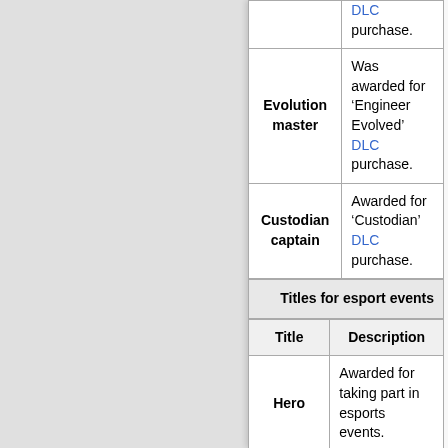| Title | Description |
| --- | --- |
| (partial top) | ... DLC purchase. |
| Evolution master | Was awarded for 'Engineer Evolved' DLC purchase. |
| Custodian captain | Awarded for 'Custodian' DLC purchase. |
Titles for esport events
| Title | Description |
| --- | --- |
| Hero | Awarded for taking part in esports events. |
| Softy | Awarded for taking part in esports events. |